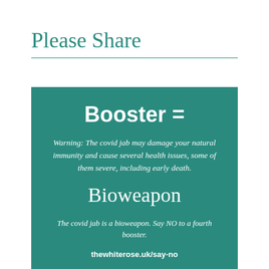Please Share
[Figure (infographic): Teal/green box with white text. Contains heading 'Booster =', warning text about covid jab damaging immunity, large text 'Bioweapon', statement that covid jab is a bioweapon and to say NO to a fourth booster, and URL thewhiterose.uk/say-no]